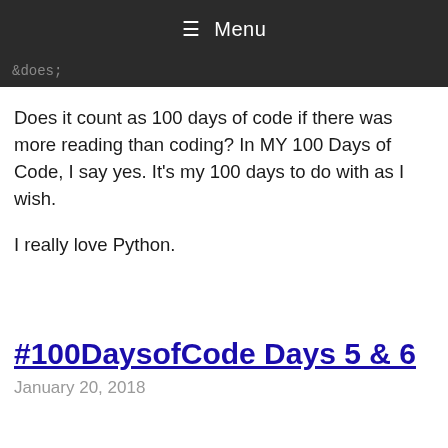≡ Menu
&does;
Does it count as 100 days of code if there was more reading than coding? In MY 100 Days of Code, I say yes. It's my 100 days to do with as I wish.
I really love Python.
#100DaysofCode Days 5 & 6
January 20, 2018